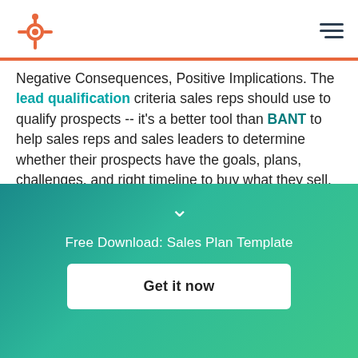HubSpot logo and navigation menu
Negative Consequences, Positive Implications. The lead qualification criteria sales reps should use to qualify prospects -- it's a better tool than BANT to help sales reps and sales leaders to determine whether their prospects have the goals, plans, challenges, and right timeline to buy what they sell.
G = Goals: Determines the quantifiable goals your
[Figure (infographic): Teal/green gradient overlay with chevron down arrow, 'Free Download: Sales Plan Template' text, and 'Get it now' white button]